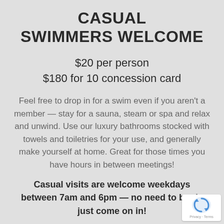CASUAL SWIMMERS WELCOME
$20 per person
$180 for 10 concession card
Feel free to drop in for a swim even if you aren't a member — stay for a sauna, steam or spa and relax and unwind. Use our luxury bathrooms stocked with towels and toiletries for your use, and generally make yourself at home. Great for those times you have hours in between meetings!
Casual visits are welcome weekdays between 7am and 6pm — no need to book, just come on in!